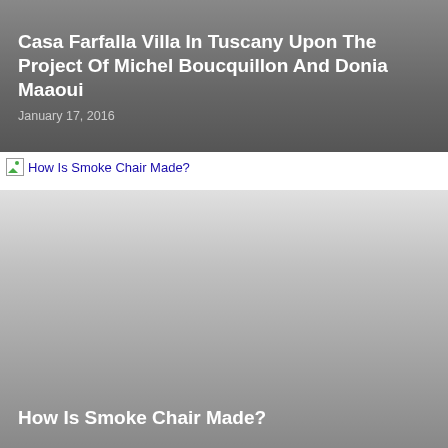Casa Farfalla Villa In Tuscany Upon The Project Of Michel Boucquillon And Donia Maaoui
January 17, 2016
How Is Smoke Chair Made?
[Figure (photo): A large card image with gradient gray background representing the Smoke Chair article thumbnail, with no visible image loaded]
How Is Smoke Chair Made?